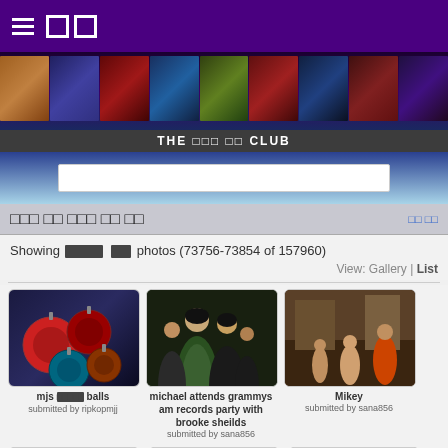☰ □□
[Figure (photo): Banner with multiple photos of Michael Jackson across different eras, purple/dark background]
THE □□□ □□ CLUB
[Figure (screenshot): Search bar input field on blue/teal gradient background]
□□□ □□ □□□ □□ □□
□□ □□
Showing □□□ □□ photos (73756-73854 of 157960)
View: Gallery | List
[Figure (photo): Christmas ornament balls with Michael Jackson photos on them]
mjs □□□□□ balls
submitted by ripkopmjj
[Figure (photo): Michael Jackson in green suit with Brooke Shields at Grammy AM Records party]
michael attends grammys am records party with brooke sheilds
submitted by sana856
[Figure (photo): People in a room, child visible - titled Mikey]
Mikey
submitted by sana856